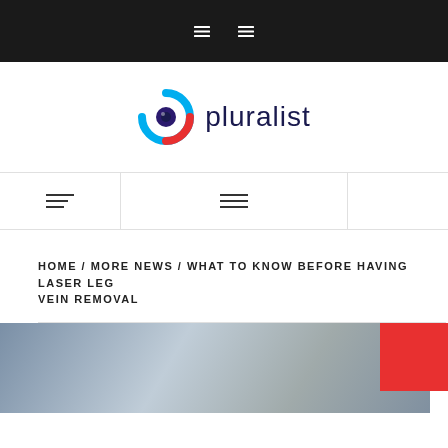[Figure (logo): Pluralist logo with stylized P icon in blue and red, with text 'pluralist' in dark navy]
[Figure (other): Navigation bar with hamburger menu icons]
HOME / MORE NEWS / WHAT TO KNOW BEFORE HAVING LASER LEG VEIN REMOVAL
[Figure (photo): Close-up photo of laser medical equipment being used on skin, partially visible at bottom of page]